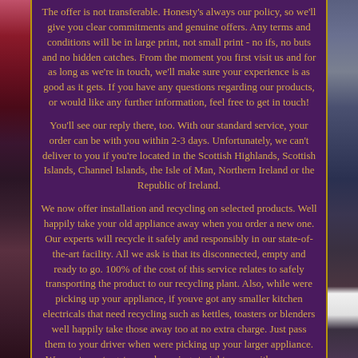The offer is not transferable. Honesty's always our policy, so we'll give you clear commitments and genuine offers. Any terms and conditions will be in large print, not small print - no ifs, no buts and no hidden catches. From the moment you first visit us and for as long as we're in touch, we'll make sure your experience is as good as it gets. If you have any questions regarding our products, or would like any further information, feel free to get in touch!
You'll see our reply there, too. With our standard service, your order can be with you within 2-3 days. Unfortunately, we can't deliver to you if you're located in the Scottish Highlands, Scottish Islands, Channel Islands, the Isle of Man, Northern Ireland or the Republic of Ireland.
We now offer installation and recycling on selected products. Well happily take your old appliance away when you order a new one. Our experts will recycle it safely and responsibly in our state-of-the-art facility. All we ask is that its disconnected, empty and ready to go. 100% of the cost of this service relates to safely transporting the product to our recycling plant. Also, while were picking up your appliance, if youve got any smaller kitchen electricals that need recycling such as kettles, toasters or blenders well happily take those away too at no extra charge. Just pass them to your driver when were picking up your larger appliance. We want you to get up and running straight away with your new appliance, which is why our expert team will connect your new item to your water pipes and make sure everything is working properly. Please just make sure, if its replacing an old model, that youve disconnected it and its out of